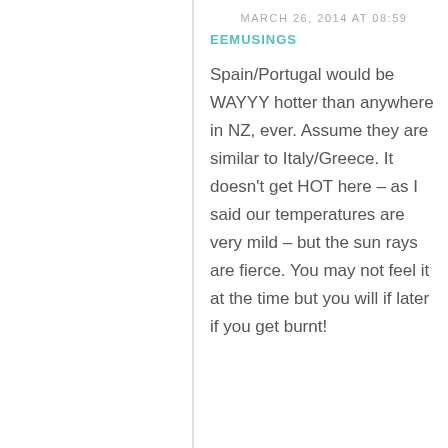MARCH 26, 2014 AT 08:59
EEMUSINGS
Spain/Portugal would be WAYYY hotter than anywhere in NZ, ever. Assume they are similar to Italy/Greece. It doesn’t get HOT here – as I said our temperatures are very mild – but the sun rays are fierce. You may not feel it at the time but you will if later if you get burnt!